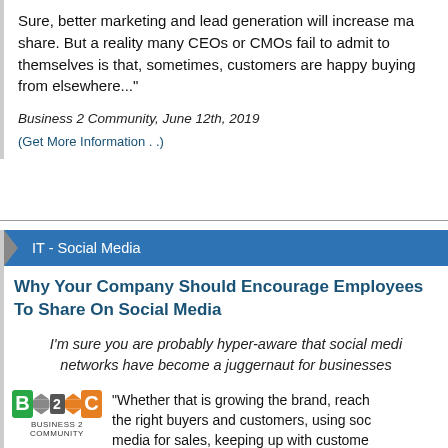Sure, better marketing and lead generation will increase market share. But a reality many CEOs or CMOs fail to admit to themselves is that, sometimes, customers are happy buying from elsewhere..."
Business 2 Community, June 12th, 2019
(Get More Information . .)
IT - Social Media
Why Your Company Should Encourage Employees To Share On Social Media
I'm sure you are probably hyper-aware that social media networks have become a juggernaut for businesses
[Figure (logo): Business 2 Community logo with B, 2, C blocks in green, gray, and orange]
"Whether that is growing the brand, reaching the right buyers and customers, using social media for sales, keeping up with customers and employees, or even finding top talent and growing your company's employer brand.